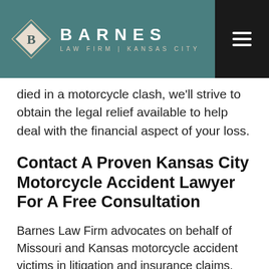[Figure (logo): Barnes Law Firm | Kansas City logo with diamond B emblem on teal header background]
died in a motorcycle clash, we'll strive to obtain the legal relief available to help deal with the financial aspect of your loss.
Contact A Proven Kansas City Motorcycle Accident Lawyer For A Free Consultation
Barnes Law Firm advocates on behalf of Missouri and Kansas motorcycle accident victims in litigation and insurance claims. Our office is located in the Plaza area of Kansas City, Missouri. For a free consultation,